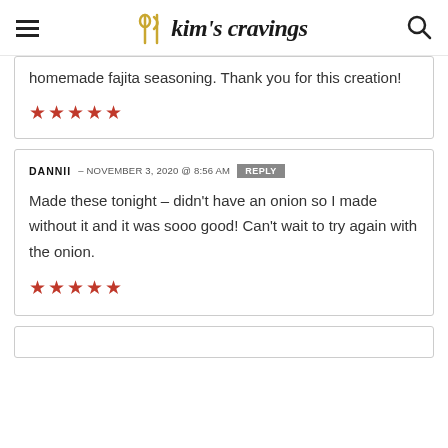kim's cravings
homemade fajita seasoning. Thank you for this creation!
★★★★★
DANNII – NOVEMBER 3, 2020 @ 8:56 AM  REPLY
Made these tonight – didn't have an onion so I made without it and it was sooo good! Can't wait to try again with the onion.
★★★★★